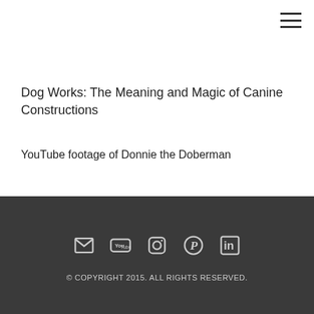Dog Works:  The Meaning and Magic of Canine Constructions
YouTube footage of Donnie the Doberman
© COPYRIGHT 2015.  ALL RIGHTS RESERVED.